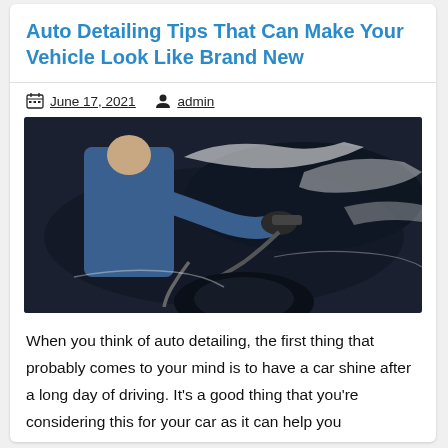Auto Detailing Tips That Can Make Your Vehicle Look Like Brand New
June 17, 2021   admin
[Figure (photo): A man in blue long sleeves and black gloves using a detailing tool on a shiny black car, working close to the wheel arch area.]
When you think of auto detailing, the first thing that probably comes to your mind is to have a car shine after a long day of driving. It's a good thing that you're considering this for your car as it can help you